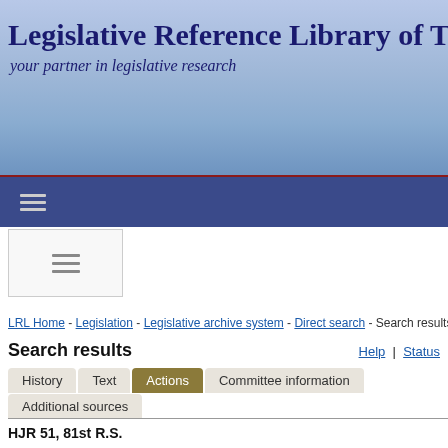Legislative Reference Library of Texas
your partner in legislative research
[Figure (screenshot): Navigation bar with hamburger menu icon on dark blue background]
[Figure (screenshot): Mobile hamburger menu button in a white box]
LRL Home - Legislation - Legislative archive system - Direct search - Search results
Search results
Help | Status
History  Text  Actions  Committee information  Additional sources
HJR 51, 81st R.S.
Proposing a constitutional amendment to authorize the legislature to limit the maximum appraised value of a residence homestead for ad valorem tax purposes to 105 percent or more of the appraised value of the property for the preceding tax year.